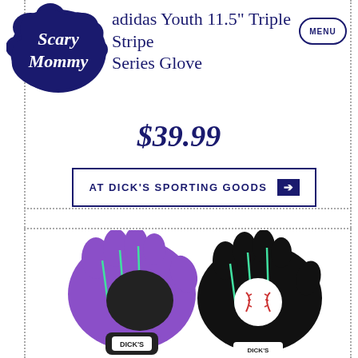[Figure (logo): Scary Mommy logo - white cursive text on dark navy blue cloud/bubble shape]
adidas Youth 11.5" Triple Stripe Series Glove
$39.99
AT DICK'S SPORTING GOODS →
[Figure (photo): Two youth baseball gloves side by side - left glove is purple/teal with black DICK'S branded wrist strap, right glove is black/teal holding a white baseball with red stitching. Both gloves have teal lacing and DICK'S Sporting Goods branding.]